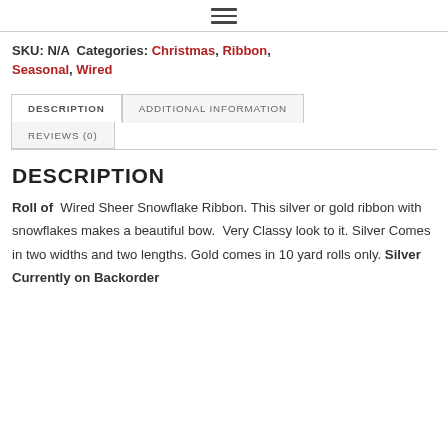≡
SKU: N/A  Categories: Christmas, Ribbon, Seasonal, Wired
DESCRIPTION | ADDITIONAL INFORMATION | REVIEWS (0)
DESCRIPTION
Roll of  Wired Sheer Snowflake Ribbon. This silver or gold ribbon with snowflakes makes a beautiful bow.  Very Classy look to it. Silver Comes in two widths and two lengths. Gold comes in 10 yard rolls only. Silver Currently on Backorder